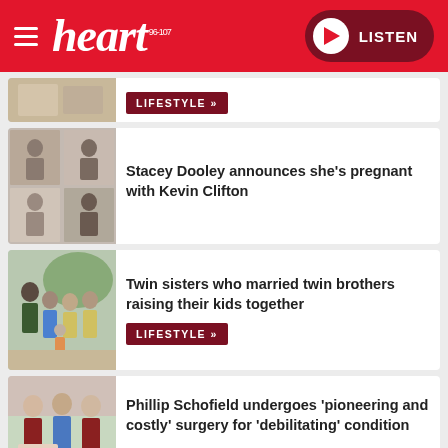[Figure (logo): Heart FM radio logo with hamburger menu and LISTEN button on red header]
[Figure (photo): Partial news card with small thumbnail image, LIFESTYLE button visible]
Stacey Dooley announces she's pregnant with Kevin Clifton
[Figure (photo): Collage of photos showing Stacey Dooley and Kevin Clifton]
Twin sisters who married twin brothers raising their kids together
[Figure (photo): Photo of two couples with children - twin sisters married to twin brothers]
LIFESTYLE »
Phillip Schofield undergoes 'pioneering and costly' surgery for 'debilitating' condition
[Figure (photo): Photo related to Phillip Schofield surgery story]